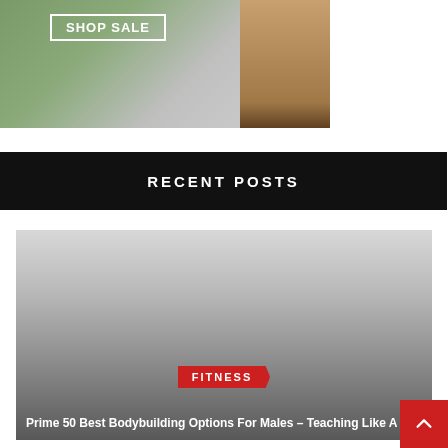[Figure (photo): Fashion photo showing a person in heels with a 'SHOP SALE' banner overlay]
RECENT POSTS
[Figure (photo): Fitness article thumbnail with dark gradient overlay, red FITNESS tag, and article title 'Prime 50 Best Bodybuilding Options For Males – Teaching Like A Skilled']